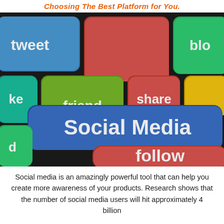Choosing The Best Platform for You.
[Figure (photo): Colorful keyboard keys with social media words: tweet, friend, share, Social Media, follow, like, blog on keys of various colors (blue, green, red, yellow) on dark background]
Social media is an amazingly powerful tool that can help you create more awareness of your products. Research shows that the number of social media users will hit approximately 4 billion